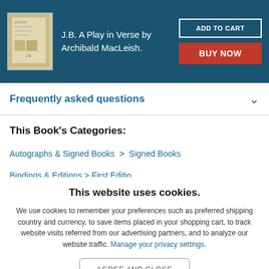J.B. A Play in Verse by Archibald MacLeish.
Frequently asked questions
This Book's Categories:
Autographs & Signed Books  >  Signed Books
Bindings & Editions > First Editions
This website uses cookies.
We use cookies to remember your preferences such as preferred shipping country and currency, to save items placed in your shopping cart, to track website visits referred from our advertising partners, and to analyze our website traffic. Manage your privacy settings.